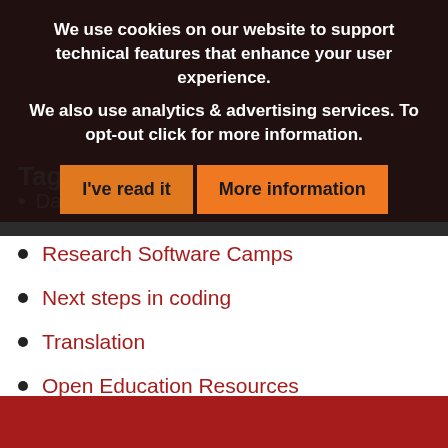We use cookies on our website to support technical features that enhance your user experience.
We also use analytics & advertising services. To opt-out click for more information.
I've read it | More information
Tags
David
Research Software Camps
Next steps in coding
Translation
Open Education Resources
Community